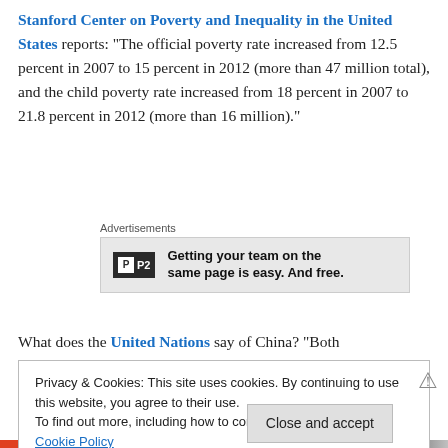Stanford Center on Poverty and Inequality in the United States reports: “The official poverty rate increased from 12.5 percent in 2007 to 15 percent in 2012 (more than 47 million total), and the child poverty rate increased from 18 percent in 2007 to 21.8 percent in 2012 (more than 16 million).”
[Figure (other): Advertisement block with P2 logo and text: Getting your team on the same page is easy. And free.]
What does the United Nations say of China? “Both
Privacy & Cookies: This site uses cookies. By continuing to use this website, you agree to their use.
To find out more, including how to control cookies, see here: Cookie Policy
Close and accept